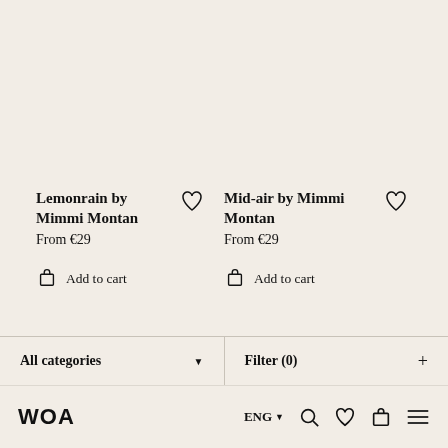Lemonrain by Mimmi Montan
From €29
Add to cart
Mid-air by Mimmi Montan
From €29
Add to cart
All categories ▼
Filter (0) +
WOA  ENG ▼  [search] [heart] [bag] [menu]